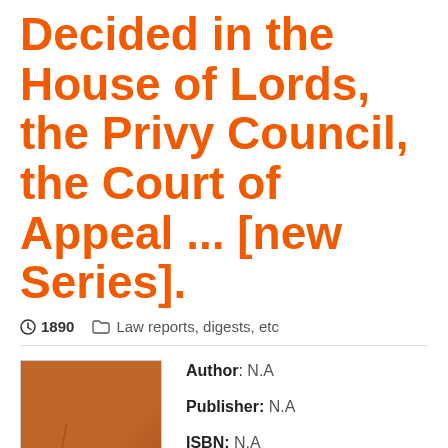Decided in the House of Lords, the Privy Council, the Court of Appeal ... [new Series].
1890  Law reports, digests, etc
[Figure (photo): Book cover image showing a worn brownish-orange book cover]
Author: N.A
Publisher: N.A
ISBN: N.A